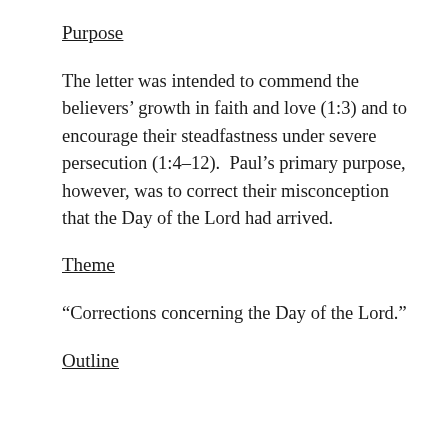Purpose
The letter was intended to commend the believers’ growth in faith and love (1:3) and to encourage their steadfastness under severe persecution (1:4–12). Paul’s primary purpose, however, was to correct their misconception that the Day of the Lord had arrived.
Theme
“Corrections concerning the Day of the Lord.”
Outline